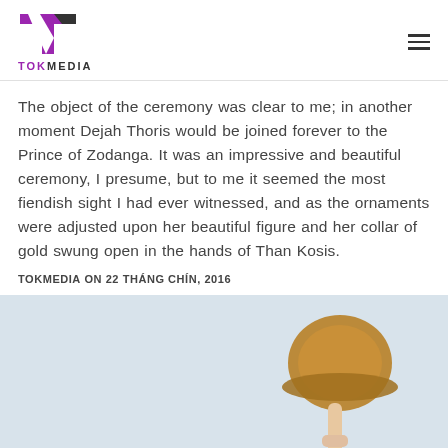TOKMEDIA
The object of the ceremony was clear to me; in another moment Dejah Thoris would be joined forever to the Prince of Zodanga. It was an impressive and beautiful ceremony, I presume, but to me it seemed the most fiendish sight I had ever witnessed, and as the ornaments were adjusted upon her beautiful figure and her collar of gold swung open in the hands of Than Kosis.
TOKMEDIA ON 22 THÁNG CHÍN, 2016
[Figure (photo): A person holding up a brown straw hat against a pale blue-grey sky background, with another figure partially visible at the lower left.]